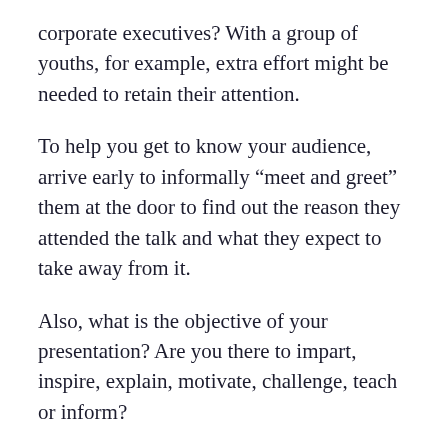corporate executives? With a group of youths, for example, extra effort might be needed to retain their attention.
To help you get to know your audience, arrive early to informally “meet and greet” them at the door to find out the reason they attended the talk and what they expect to take away from it.
Also, what is the objective of your presentation? Are you there to impart, inspire, explain, motivate, challenge, teach or inform?
3. Avoid memorising
Bear in mind that when you present, you should be interacting with your audience and not dictating